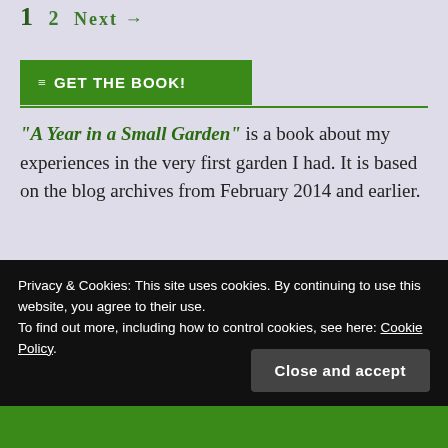1  2  Next →
≡  GET THE BOOK!
"A Year in a Small Garden" is a book about my experiences in the very first garden I had. It is based on the blog archives from February 2014 and earlier.
Privacy & Cookies: This site uses cookies. By continuing to use this website, you agree to their use. To find out more, including how to control cookies, see here: Cookie Policy.
Close and accept